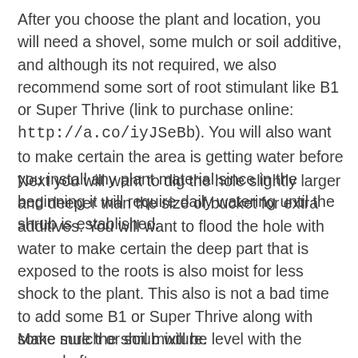After you choose the plant and location, you will need a shovel, some mulch or soil additive, and although its not required, we also recommend some sort of root stimulant like B1 or Super Thrive (link to purchase online: http://a.co/iyJSeBb). You will also want to make certain the area is getting water before you install any plant material since in the beginning it will require daily watering until the shrub is established.
Next you will want to dig the hole slightly larger and deeper than the size of bucket for extra additives. You will want to flood the hole with water to make certain the deep part that is exposed to the roots is also moist for less shock to the plant. This also is not a bad time to add some B1 or Super Thrive along with some mulch or soil mixture.
Make sure the shrub will be level with the ground after